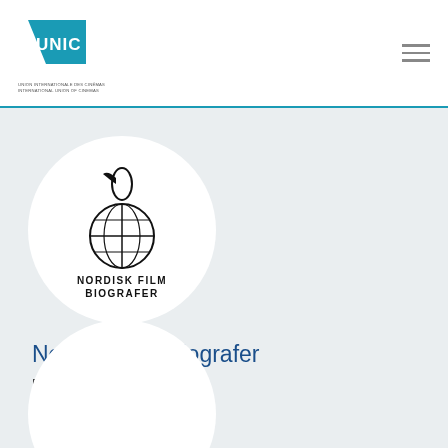UNIC — Union Internationale des Cinémas / International Union of Cinemas
[Figure (logo): UNIC logo — blue angular shape with white UNIC text]
[Figure (logo): Nordisk Film Biografer circular logo with globe and bird icon, text NORDISK FILM BIOGRAFER]
Nordisk Film Biografer
Denmark, Norway